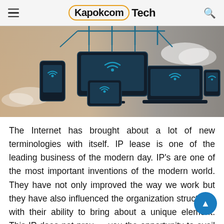Kapokcom Tech
[Figure (illustration): Illustration of multiple connected devices (smartphone, desktop monitor, tablet, laptop, smaller phone) with WiFi symbols and network connection lines, on a warm blurred background.]
The Internet has brought about a lot of new terminologies with itself. IP lease is one of the leading business of the modern day. IP's are one of the most important inventions of the modern world. They have not only improved the way we work but they have also influenced the organization structures with their ability to bring about a unique element. This IP does not provide you the opportunity to avail the internet services